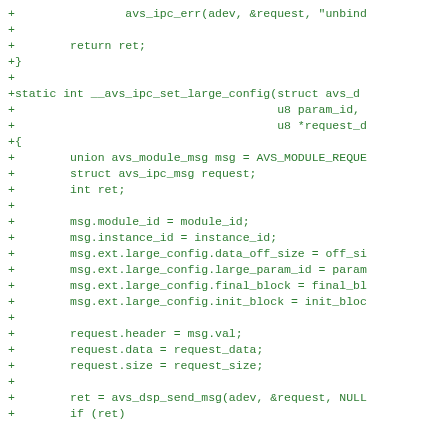[Figure (screenshot): Code diff snippet in green monospace font showing C source code additions for avs_ipc_set_large_config function]